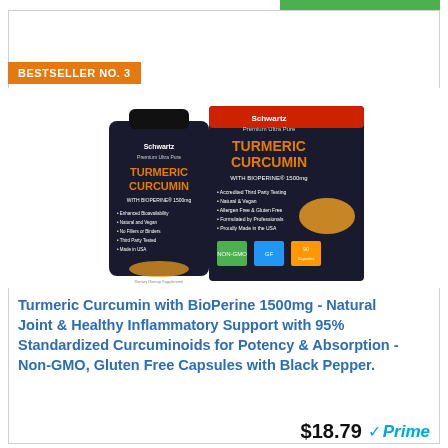BESTSELLER NO. 3
[Figure (photo): Product photo of BioSchwartz Turmeric Curcumin with BioPerine 1500mg supplement bottle and box packaging]
Turmeric Curcumin with BioPerine 1500mg - Natural Joint & Healthy Inflammatory Support with 95% Standardized Curcuminoids for Potency & Absorption - Non-GMO, Gluten Free Capsules with Black Pepper.
$18.79 Prime